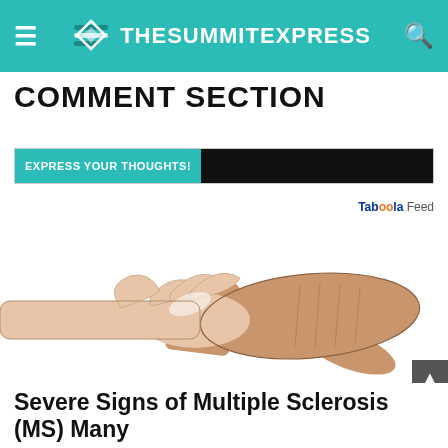TheSummitExpress
COMMENT SECTION
EXPRESS YOUR THOUGHTS!
Taboola Feed
[Figure (illustration): Line art illustration of two hands clasping or holding each other, depicted in a medical/educational style with skin-tone shading.]
Severe Signs of Multiple Sclerosis (MS) Many